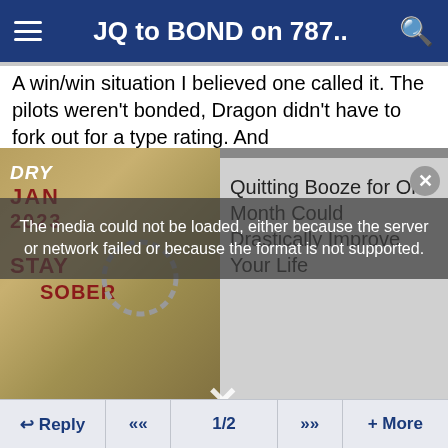JQ to BOND on 787..
A win/win situation I believed one called it. The pilots weren't bonded, Dragon didn't have to fork out for a type rating. And
[Figure (screenshot): Media player showing a calendar image with 'DRY JAN 2023 STAY SOBER' written in red, overlaid with an error message 'The media could not be loaded, either because the server or network failed or because the format is not supported.' and an X close button. Right side shows a partially visible ad 'Quitting Booze for One Month Could Drastically Improve Your Life' with a close button.]
Reply  <<  1/2  >>  + More